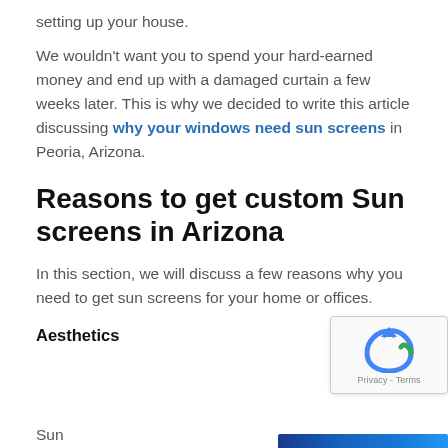setting up your house.
We wouldn't want you to spend your hard-earned money and end up with a damaged curtain a few weeks later. This is why we decided to write this article discussing why your windows need sun screens in Peoria, Arizona.
Reasons to get custom Sun screens in Arizona
In this section, we will discuss a few reasons why you need to get sun screens for your home or offices.
Aesthetics
Sun